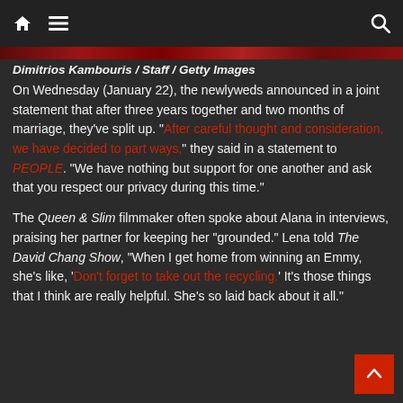[home icon] [menu icon] [search icon]
[Figure (photo): Red textured banner image strip]
Dimitrios Kambouris / Staff / Getty Images
On Wednesday (January 22), the newlyweds announced in a joint statement that after three years together and two months of marriage, they've split up. “After careful thought and consideration, we have decided to part ways,” they said in a statement to PEOPLE. “We have nothing but support for one another and ask that you respect our privacy during this time.”
The Queen & Slim filmmaker often spoke about Alana in interviews, praising her partner for keeping her “grounded.” Lena told The David Chang Show, “When I get home from winning an Emmy, she’s like, 'Don't forget to take out the recycling.' It’s those things that I think are really helpful. She’s so laid back about it all.”